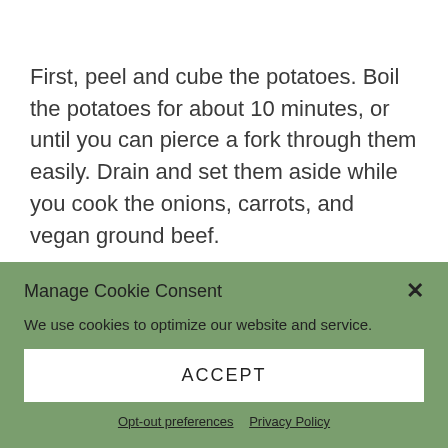First, peel and cube the potatoes. Boil the potatoes for about 10 minutes, or until you can pierce a fork through them easily. Drain and set them aside while you cook the onions, carrots, and vegan ground beef.
Manage Cookie Consent
We use cookies to optimize our website and service.
ACCEPT
Opt-out preferences  Privacy Policy